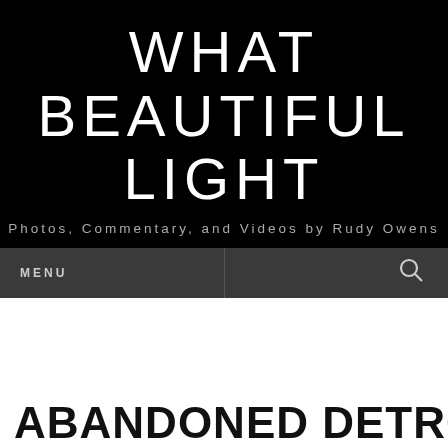WHAT BEAUTIFUL LIGHT
Photos, Commentary, and Videos by Rudy Owens
MENU
RUIN PHOTOGRAPHY
Privacy & Cookies: This site uses cookies. By continuing to use this website, you agree to their use.
To find out more, including how to control cookies, see here: Cookie Policy
Close and accept
ABANDONED DETROIT